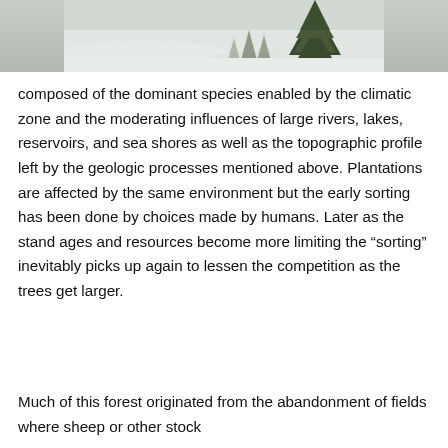[Figure (photo): Partial photo of a snow-covered landscape with a conifer tree, cropped at top of page]
composed of the dominant species enabled by the climatic zone and the moderating influences of large rivers, lakes, reservoirs, and sea shores as well as the topographic profile left by the geologic processes mentioned above. Plantations are affected by the same environment but the early sorting has been done by choices made by humans. Later as the stand ages and resources become more limiting the “sorting” inevitably picks up again to lessen the competition as the trees get larger.
Much of this forest originated from the abandonment of fields where sheep or other stock